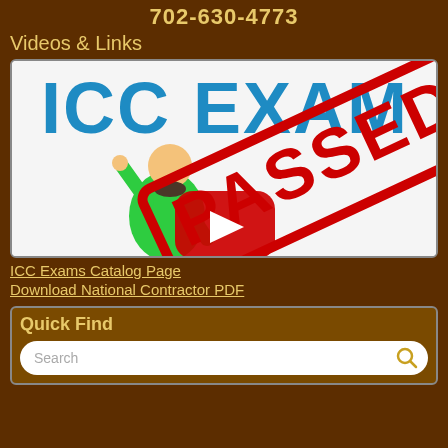702-630-4773
Videos & Links
[Figure (screenshot): YouTube video thumbnail showing 'ICC EXAM PASSED' with a cartoon person celebrating and a YouTube play button overlay]
ICC Exams Catalog Page
Download National Contractor PDF
Quick Find
Search